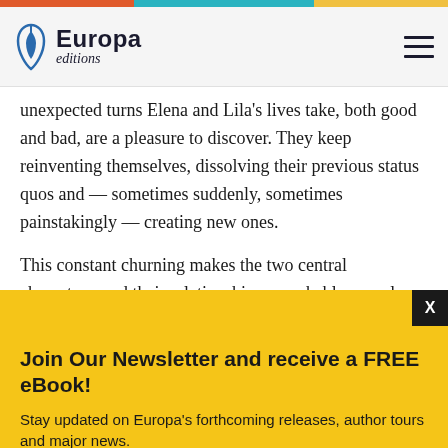Europa editions
unexpected turns Elena and Lila's lives take, both good and bad, are a pleasure to discover. They keep reinventing themselves, dissolving their previous status quos and — sometimes suddenly, sometimes painstakingly — creating new ones.
This constant churning makes the two central characters, and their relationship, remarkably complex. Their friendship isn't an idealized or
Join Our Newsletter and receive a FREE eBook!
Stay updated on Europa's forthcoming releases, author tours and major news.
Your e-mail address
Are you a bookseller? Click here!
Are you a librarian? Click here!